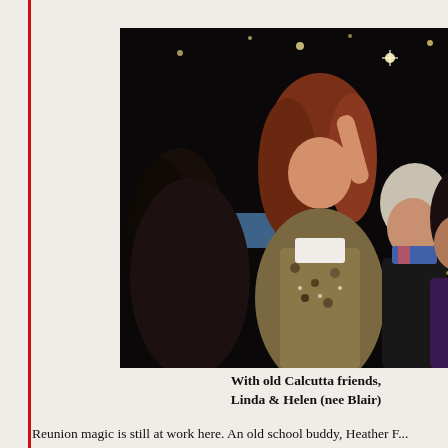[Figure (photo): A group of women at what appears to be a party or reunion event, laughing and celebrating together in a dark venue with scattered lights in the background. The central figure has reddish-brown hair and wears a patterned jacket.]
With old Calcutta friends, Linda & Helen (nee Blair)
Reunion magic is still at work here. An old school buddy, Heather F... they have re-connected again...